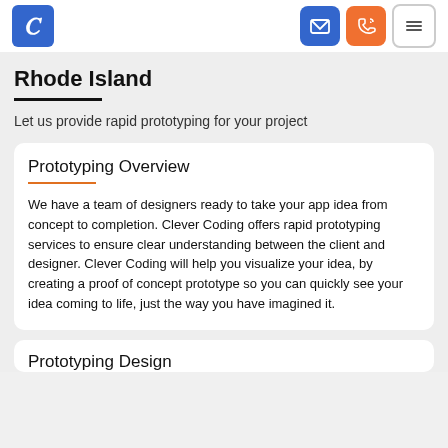[Figure (logo): Blue square logo with white C letter]
Navigation bar with logo and icons
Rhode Island
Let us provide rapid prototyping for your project
Prototyping Overview
We have a team of designers ready to take your app idea from concept to completion. Clever Coding offers rapid prototyping services to ensure clear understanding between the client and designer. Clever Coding will help you visualize your idea, by creating a proof of concept prototype so you can quickly see your idea coming to life, just the way you have imagined it.
Prototyping Design